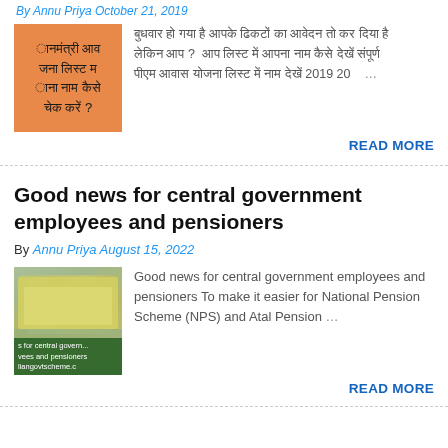By Annu Priya October 21, 2019
[Figure (photo): Orange background image with Hindi text about PM Awas Yojana list and name check]
Hindi text snippet about PM Awas Yojana 2019 20 ...
READ MORE
Good news for central government employees and pensioners
By Annu Priya August 15, 2022
[Figure (photo): Photo of Indian currency notes with text overlay: s for central govern... vees and pensioners liangovtscheme.c]
Good news for central government employees and pensioners To make it easier for National Pension Scheme (NPS) and Atal Pension ...
READ MORE